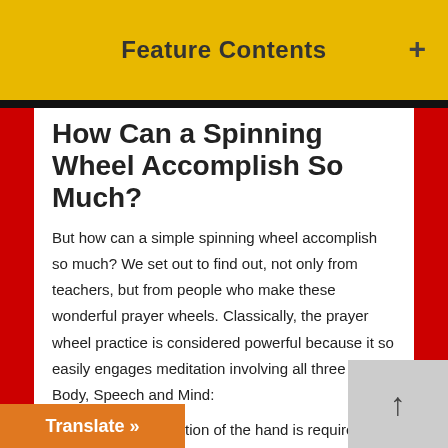Feature Contents
How Can a Spinning Wheel Accomplish So Much?
But how can a simple spinning wheel accomplish so much? We set out to find out, not only from teachers, but from people who make these wonderful prayer wheels. Classically, the prayer wheel practice is considered powerful because it so easily engages meditation involving all three of Body, Speech and Mind:
Body: physical action of the hand is required to spin the wheel
Speech: the millions of mantras contained in the spinning
aging the mind with visualizations.